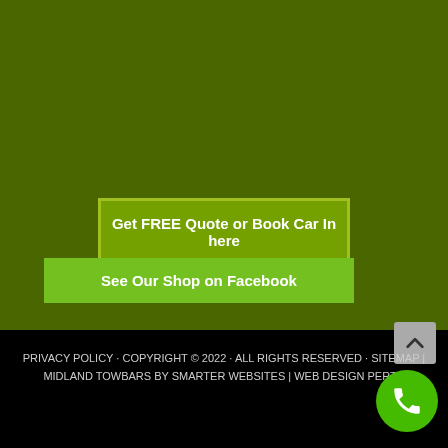[Figure (other): Dark olive/green background section occupying the upper portion of the page]
Get FREE Quote or Book Car In here
See Our Shop on Facebook
PRIVACY POLICY · COPYRIGHT © 2022 · ALL RIGHTS RESERVED · SITEMAP | MIDLAND TOWBARS BY SMARTER WEBSITES | WEB DESIGN PERTH